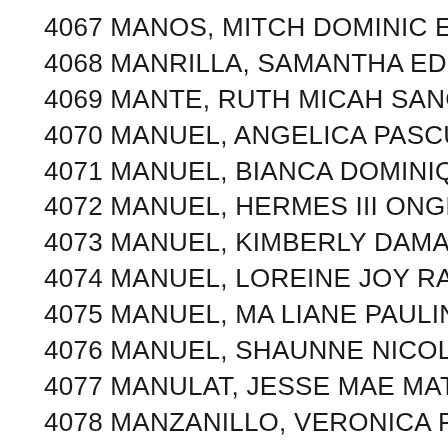4067 MANOS, MITCH DOMINIC ESCOBAR
4068 MANRILLA, SAMANTHA EDORA PEREZ
4069 MANTE, RUTH MICAH SANCHEZ
4070 MANUEL, ANGELICA PASCUA
4071 MANUEL, BIANCA DOMINIQUE RAMOS
4072 MANUEL, HERMES III ONGLATCO
4073 MANUEL, KIMBERLY DAMASCO
4074 MANUEL, LOREINE JOY RAMOS
4075 MANUEL, MA LIANE PAULINE CALDERON
4076 MANUEL, SHAUNNE NICOLE BERING
4077 MANULAT, JESSE MAE MATA
4078 MANZANILLO, VERONICA PAMBID
4079 MANZANO, CAMILA BOMOGAO
4080 MANZANO, JEFFREY SANCHEZ
4081 MANZANO, MARIE JOY FARRO